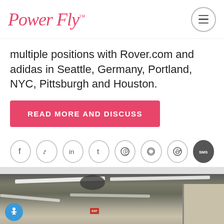PowerFly™
multiple positions with Rover.com and adidas in Seattle, Germany, Portland, NYC, Pittsburgh and Houston.
READ MORE AND DISCUSS
[Figure (other): Social media share icons in circular outlines: Facebook, Twitter, LinkedIn, Tumblr, Pinterest, WhatsApp, Reddit, SMS]
[Figure (photo): Interior photo of a conference or classroom room ceiling with fluorescent strip lighting and acoustic tiles, whiteboard visible on the right wall]